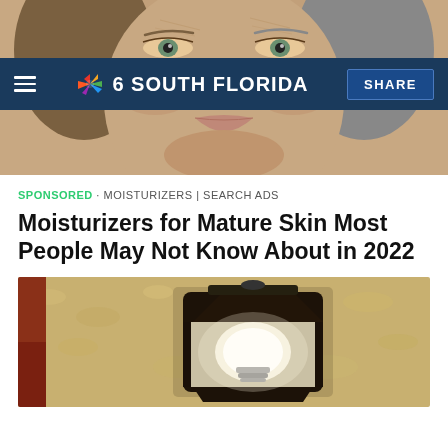[Figure (photo): Close-up photo of a woman's face showing aged, dry skin with wrinkles, set against a plain background. The face fills the frame from forehead to chin.]
NBC 6 SOUTH FLORIDA | SHARE
SPONSORED · MOISTURIZERS | SEARCH ADS
Moisturizers for Mature Skin Most People May Not Know About in 2022
[Figure (photo): Photo of an outdoor wall-mounted lantern light fixture with a white light bulb, mounted on a textured stucco wall.]